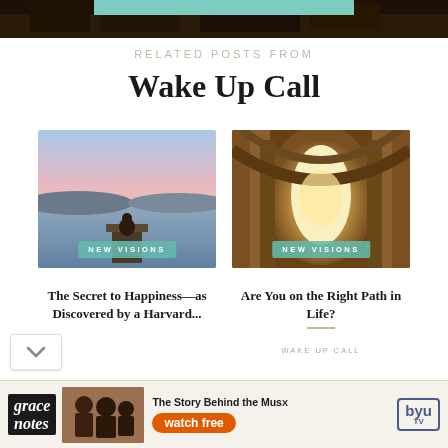[Figure (photo): Top strip showing bottom edge of a dark forest/nature image with a teal/green accent bar at top]
RELATED POSTS FROM
Wake Up Call
[Figure (photo): Person sitting on a dock meditating at sunset over a calm lake with pink and blue sky. Badge reads NEW VISIONS.]
[Figure (photo): Golden tunnel of trees forming an archway with light at the end. Badge reads NEW VISIONS.]
The Secret to Happiness—as Discovered by a Harvard...
Are You on the Right Path in Life?
WAKE UP CALL
[Figure (screenshot): Advertisement banner for Grace Notes on BYU TV with text 'The Story Behind the Music' and 'watch free']